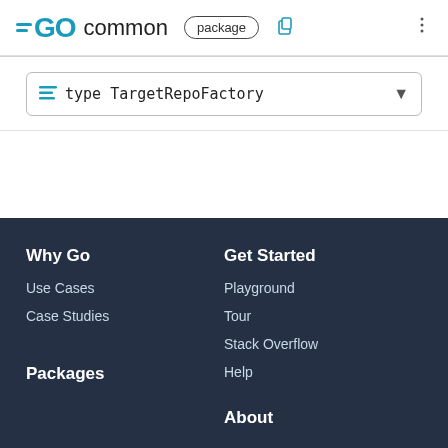GO common package
type TargetRepoFactory
Why Go
Use Cases
Case Studies
Get Started
Playground
Tour
Stack Overflow
Help
Packages
About